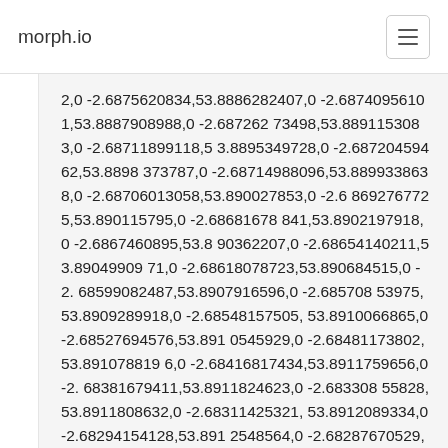morph.io
2,0 -2.6875620834,53.8886282407,0 -2.68740956101,53.8887908988,0 -2.68726273498,53.8891153083,0 -2.68711899118,53.8895349728,0 -2.68720459462,53.8898373787,0 -2.68714988096,53.8899338638,0 -2.68706013058,53.890027853,0 -2.68692767725,53.890115795,0 -2.68681678841,53.8902197918,0 -2.6867460895,53.8903622070,0 -2.68654140211,53.8904990971,0 -2.68618078723,53.890684515,0 -2.68599082487,53.8907916596,0 -2.68570853975,53.8909289918,0 -2.68548157505,53.8910066865,0 -2.68527694576,53.8910545929,0 -2.68481173802,53.8910788196,0 -2.68416817434,53.8911759656,0 -2.68381679411,53.8911824623,0 -2.68330855828,53.8911808632,0 -2.68311425321,53.8912089334,0 -2.68294154128,53.8912548564,0 -2.68287670529,53.8912911774,0 -2.68255460177,53.8915069244,0 -2.